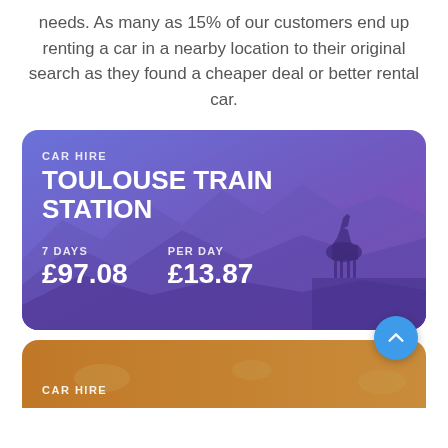needs. As many as 15% of our customers end up renting a car in a nearby location to their original search as they found a cheaper deal or better rental car.
[Figure (infographic): Car hire promotional card with purple/blue gradient background, mountain silhouette landscape with llama/deer silhouette, showing Toulouse Train Station car hire for 7 days at £97.08 (£13.87 per day)]
[Figure (infographic): Partially visible orange/brown car hire promotional card at bottom of page, with sandy desert landscape silhouette]